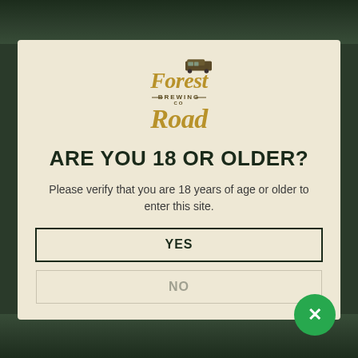[Figure (logo): Forest Road Brewing Co logo in gold/brown script lettering with a van graphic]
ARE YOU 18 OR OLDER?
Please verify that you are 18 years of age or older to enter this site.
YES
NO